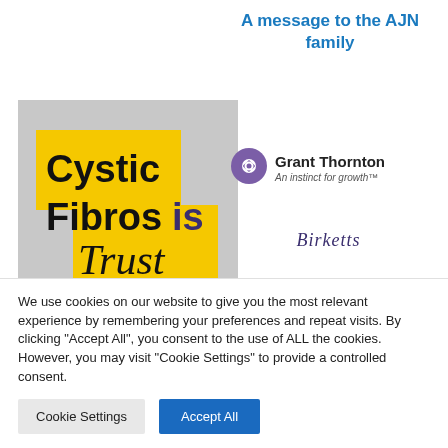A message to the AJN family
[Figure (logo): Cystic Fibrosis Trust logo: grey background square with yellow blocks containing bold black text 'Cystic Fibrosis' and handwritten-style text 'Trust']
[Figure (logo): Grant Thornton logo: purple circular diamond icon with text 'Grant Thornton' and tagline 'An instinct for growth']
[Figure (logo): Birketts logo: dark purple serif italic text 'Birketts']
Suffolk Limited 2019
We use cookies on our website to give you the most relevant experience by remembering your preferences and repeat visits. By clicking "Accept All", you consent to the use of ALL the cookies. However, you may visit "Cookie Settings" to provide a controlled consent.